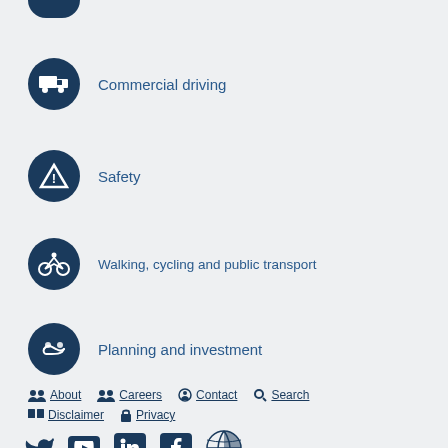Commercial driving
Safety
Walking, cycling and public transport
Planning and investment
About | Careers | Contact | Search | Disclaimer | Privacy
© 2022 Waka Kotahi NZ Transport Agency, all rights reserved